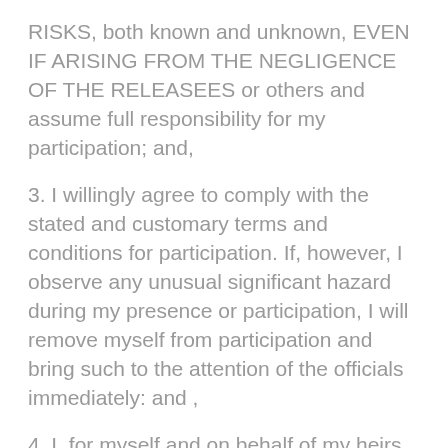RISKS, both known and unknown, EVEN IF ARISING FROM THE NEGLIGENCE OF THE RELEASEES or others and assume full responsibility for my participation; and,
3. I willingly agree to comply with the stated and customary terms and conditions for participation. If, however, I observe any unusual significant hazard during my presence or participation, I will remove myself from participation and bring such to the attention of the officials immediately: and ,
4. I, for myself and on behalf of my heirs, assigns, personal representatives and next of